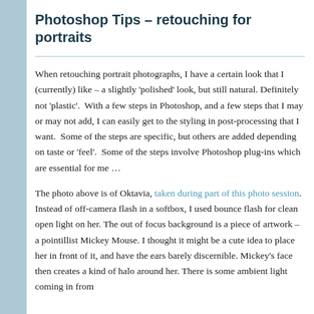Photoshop Tips – retouching for portraits
When retouching portrait photographs, I have a certain look that I (currently) like – a slightly 'polished' look, but still natural. Definitely not 'plastic'.  With a few steps in Photoshop, and a few steps that I may or may not add, I can easily get to the styling in post-processing that I want.  Some of the steps are specific, but others are added depending on taste or 'feel'.  Some of the steps involve Photoshop plug-ins which are essential for me …
The photo above is of Oktavia, taken during part of this photo session. Instead of off-camera flash in a softbox, I used bounce flash for clean open light on her. The out of focus background is a piece of artwork – a pointillist Mickey Mouse. I thought it might be a cute idea to place her in front of it, and have the ears barely discernible. Mickey's face then creates a kind of halo around her. There is some ambient light coming in from